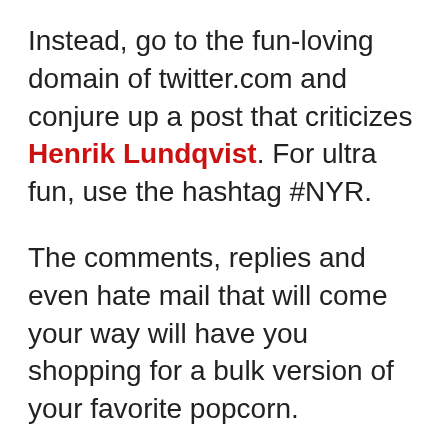Instead, go to the fun-loving domain of twitter.com and conjure up a post that criticizes Henrik Lundqvist. For ultra fun, use the hashtag #NYR.
The comments, replies and even hate mail that will come your way will have you shopping for a bulk version of your favorite popcorn.
When Hank is spoken badly about, fans of the New York Rangers lose their ever-loving mind. They go nuts. They panic. They become defensive. They fall apart at the seams while talking gibberish nonsense only a fellow irrational fan can truly grasp. What makes the Rangers fan base the most loyal and passionate in the city is what also makes them the most irrational part of the time. Th...